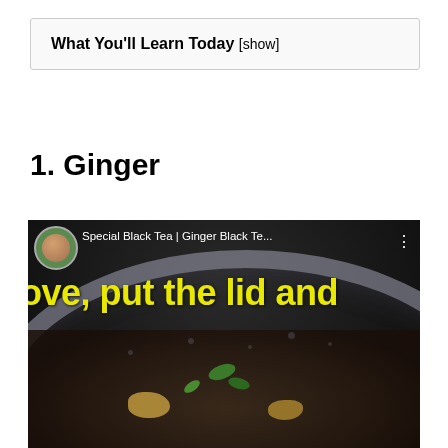What You'll Learn Today [show]
1. Ginger
[Figure (screenshot): Screenshot of a YouTube video titled 'Special Black Tea | Ginger Black Te...' showing a close-up of a pot of ginger black tea with green leaves and ginger pieces, with yellow subtitle text reading 'ove, put the lid and']